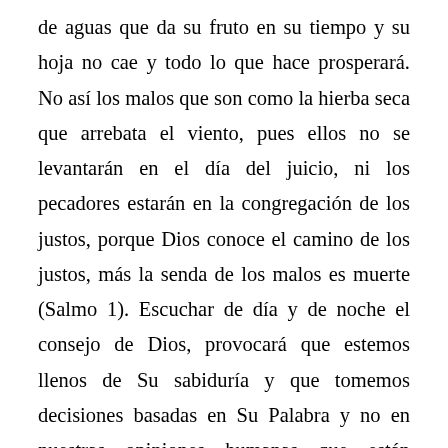de aguas que da su fruto en su tiempo y su hoja no cae y todo lo que hace prosperará. No así los malos que son como la hierba seca que arrebata el viento, pues ellos no se levantarán en el día del juicio, ni los pecadores estarán en la congregación de los justos, porque Dios conoce el camino de los justos, más la senda de los malos es muerte (Salmo 1). Escuchar de día y de noche el consejo de Dios, provocará que estemos llenos de Su sabiduría y que tomemos decisiones basadas en Su Palabra y no en nuestras opiniones humanas que están dirigidas por nuestras emociones.